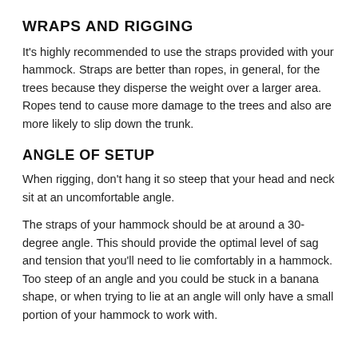WRAPS AND RIGGING
It's highly recommended to use the straps provided with your hammock. Straps are better than ropes, in general, for the trees because they disperse the weight over a larger area. Ropes tend to cause more damage to the trees and also are more likely to slip down the trunk.
ANGLE OF SETUP
When rigging, don't hang it so steep that your head and neck sit at an uncomfortable angle.
The straps of your hammock should be at around a 30-degree angle. This should provide the optimal level of sag and tension that you'll need to lie comfortably in a hammock. Too steep of an angle and you could be stuck in a banana shape, or when trying to lie at an angle will only have a small portion of your hammock to work with.